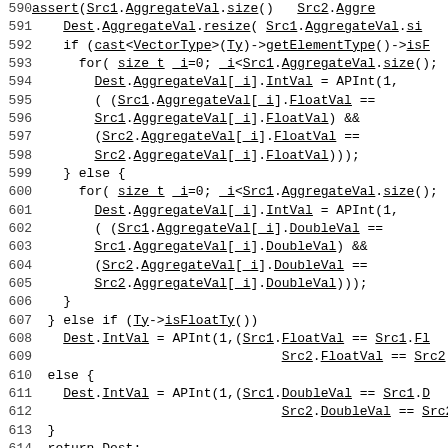Source code listing, lines 590-620, showing C++ function body with AggregateVal operations and executeFCMP_UNO static function declaration